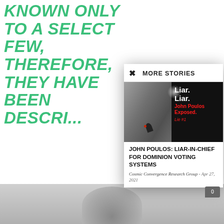KNOWN ONLY TO A SELECT FEW, THEREFORE, THEY HAVE BEEN DESCRIBED...
The final point he... governed by a dis... government. In s... worked out well e... around them. Ho... could be upset at... nations who wou... their geopolitical...
MORE STORIES
[Figure (photo): Photo of John Poulos with overlay text: Liar. Liar. John Poulos Exposed. Lie #1]
JOHN POULOS: LIAR-IN-CHIEF FOR DOMINION VOTING SYSTEMS
Cosmic Convergence Research Group - Apr 27, 2021
[Figure (photo): Partial bottom image, person visible, gray background]